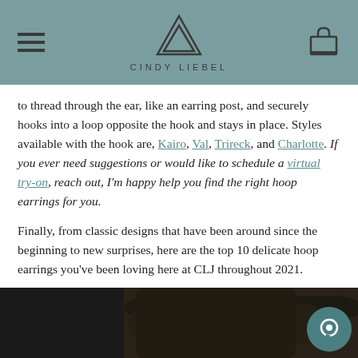CINDY LIEBEL
to thread through the ear, like an earring post, and securely hooks into a loop opposite the hook and stays in place. Styles available with the hook are, Kairo, Val, Trireck, and Charlotte. If you ever need suggestions or would like to schedule a virtual try-on, reach out, I'm happy help you find the right hoop earrings for you.
Finally, from classic designs that have been around since the beginning to new surprises, here are the top 10 delicate hoop earrings you've been loving here at CLJ throughout 2021.
[Figure (photo): Close-up photo of a person's hair, dark curly hair partially visible at the bottom of the page]